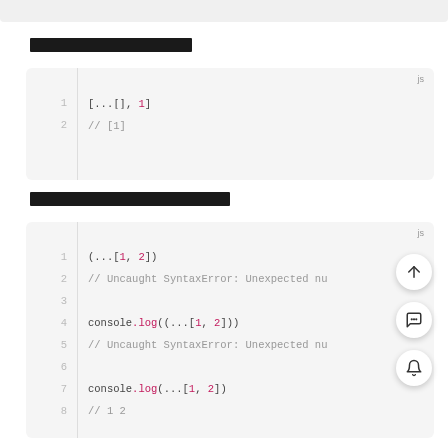สเปรดอาร์เรย์ในอาร์เรย์
[Figure (screenshot): Code block showing [...[], 1] on line 1 and // [1] on line 2, with js label]
สเปรดอาร์เรย์ในฟังก์ชันคอล
[Figure (screenshot): Code block showing spread operator examples with SyntaxError comments and console.log calls, lines 1-8, with js label]